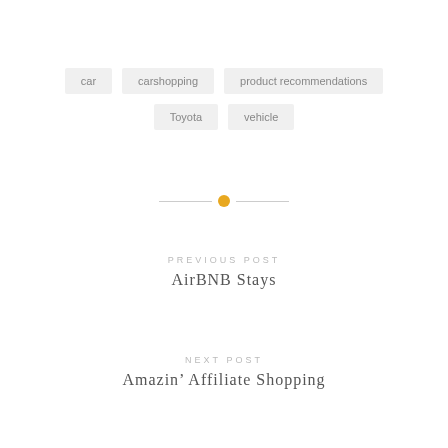car
carshopping
product recommendations
Toyota
vehicle
PREVIOUS POST
AirBNB Stays
NEXT POST
Amazin’ Affiliate Shopping